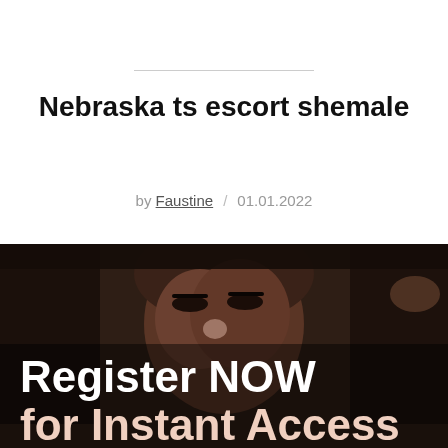Nebraska ts escort shemale
by Faustine / 01.01.2022
[Figure (photo): Portrait photo of a person with overlay text reading 'Register NOW for Instant Access']